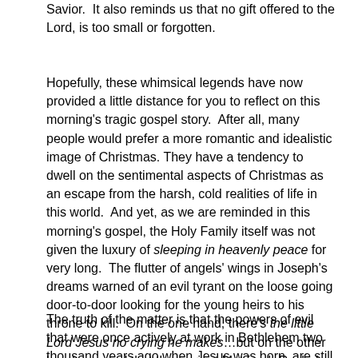Savior.  It also reminds us that no gift offered to the Lord, is too small or forgotten.
Hopefully, these whimsical legends have now provided a little distance for you to reflect on this morning's tragic gospel story.  After all, many people would prefer a more romantic and idealistic image of Christmas. They have a tendency to dwell on the sentimental aspects of Christmas as an escape from the harsh, cold realities of life in this world.  And yet, as we are reminded in this morning's gospel, the Holy Family itself was not given the luxury of sleeping in heavenly peace for very long.  The flutter of angels' wings in Joseph's dreams warned of an evil tyrant on the loose going door-to-door looking for the young heirs to his throne to kill.  On the one hand, there's the little Lord Jesus no crying he makes…but on the other hand, we read that the ancient Matriarch Rachel, close by, was weeping for her children.
The truth of the matter is that the powers of evil that were once actively at work in Bethlehem two thousand years ago when Jesus was born, are still active today.  Yes, even at Christmas,